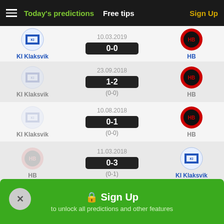Today's predictions   Free tips   Sign Up
10.03.2019  KI Klaksvik  0-0  HB
23.09.2018  KI Klaksvik  1-2  (0-0)  HB
10.08.2018  KI Klaksvik  0-1  (0-0)  HB
11.03.2018  HB  0-3  (0-1)  KI Klaksvik
24.09.2017  KI Klaksvik  0-0  HB
🔒 Sign Up
to unlock all predictions and other features